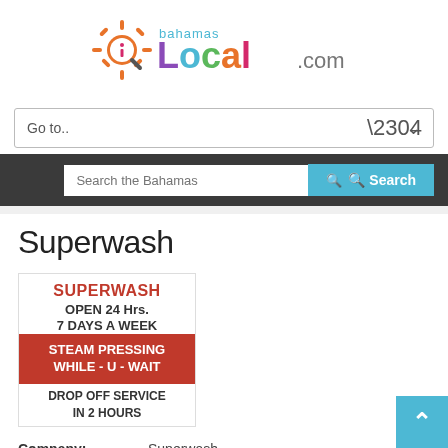[Figure (logo): BahamasLocal.com logo with colorful letters and a magnifying glass icon]
Go to..
Search the Bahamas
Superwash
[Figure (photo): Superwash advertisement sign: SUPERWASH OPEN 24 Hrs. 7 DAYS A WEEK STEAM PRESSING WHILE-U-WAIT DROP OFF SERVICE IN 2 HOURS]
Company: Superwash